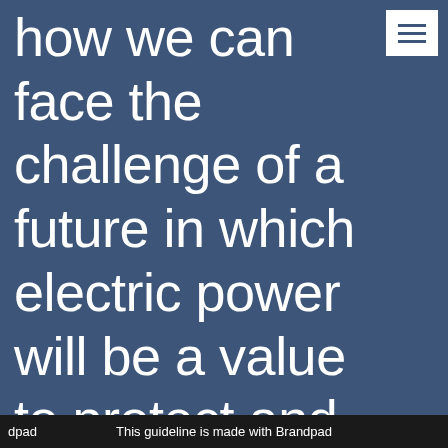how we can face the challenge of a future in which electric power will be a value to protect and use responsibly. Our answer to those important challenges is more than 50 years
dpad    This guideline is made with Brandpad